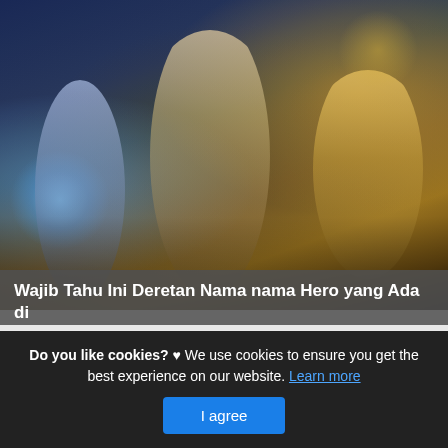[Figure (illustration): Mobile Legends game artwork showing fantasy characters/heroes in action poses against a dramatic background with gold and blue tones]
Wajib Tahu Ini Deretan Nama nama Hero yang Ada di
This is actually a post or even photo around the Wajib Tahu Ini Deretan Nama nama Hero yang Ada di Mobile Legends, if you prefer much a lot extra relevant information approximately the write-up or even photo satisfy hit or even check out the complying with web link or even web link . (Read More)
Do you like cookies? ♥ We use cookies to ensure you get the best experience on our website. Learn more  I agree